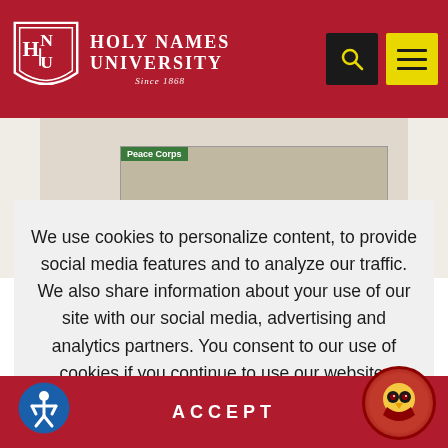[Figure (screenshot): Holy Names University website header with red background, university logo (shield with HNU letters), university name text 'Holy Names University Since 1868', black search icon box, and yellow menu icon box with hamburger lines]
[Figure (photo): Partially visible background webpage content showing a Peace Corps related image]
We use cookies to personalize content, to provide social media features and to analyze our traffic. We also share information about your use of our site with our social media, advertising and analytics partners. You consent to our use of cookies if you continue to use our website.
ACCEPT